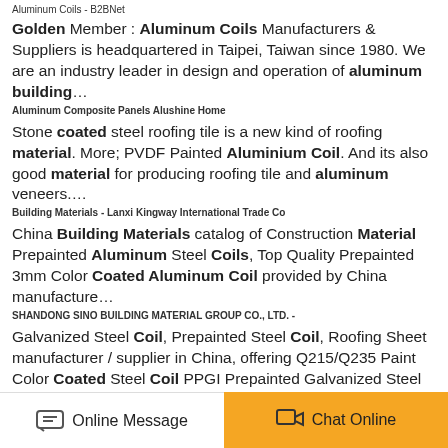Aluminum Coils - B2BNet
Golden Member : Aluminum Coils Manufacturers & Suppliers is headquartered in Taipei, Taiwan since 1980. We are an industry leader in design and operation of aluminum building…
Aluminum Composite Panels Alushine Home
Stone coated steel roofing tile is a new kind of roofing material. More; PVDF Painted Aluminium Coil. And its also good material for producing roofing tile and aluminum veneers.…
Building Materials - Lanxi Kingway International Trade Co
China Building Materials catalog of Construction Material Prepainted Aluminum Steel Coils, Top Quality Prepainted 3mm Color Coated Aluminum Coil provided by China manufacture…
SHANDONG SINO BUILDING MATERIAL GROUP CO., LTD. -
Galvanized Steel Coil, Prepainted Steel Coil, Roofing Sheet manufacturer / supplier in China, offering Q215/Q235 Paint Color Coated Steel Coil PPGI Prepainted Galvanized Steel C…
Tinplate Coil - Qingdao Quanlong Metal Materials Co., Ltd.